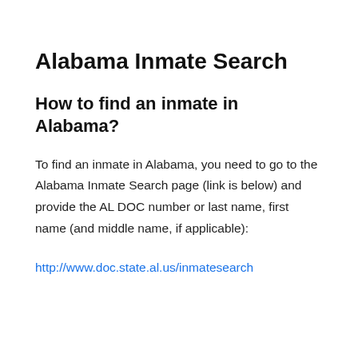Alabama Inmate Search
How to find an inmate in Alabama?
To find an inmate in Alabama, you need to go to the Alabama Inmate Search page (link is below) and provide the AL DOC number or last name, first name (and middle name, if applicable):
http://www.doc.state.al.us/inmatesearch